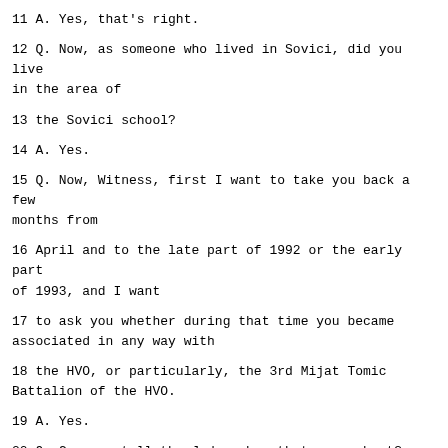11 A. Yes, that's right.
12 Q. Now, as someone who lived in Sovici, did you live in the area of
13 the Sovici school?
14 A. Yes.
15 Q. Now, Witness, first I want to take you back a few months from
16 April and to the late part of 1992 or the early part of 1993, and I want
17 to ask you whether during that time you became associated in any way with
18 the HVO, or particularly, the 3rd Mijat Tomic Battalion of the HVO.
19 A. Yes.
20 Q. Can you tell the Judges how that came about?
21 A. Well, they were making a road, Sovici-Jablanica, that route, and
22 they suggested there was heavy equipment there on parts of the road, and